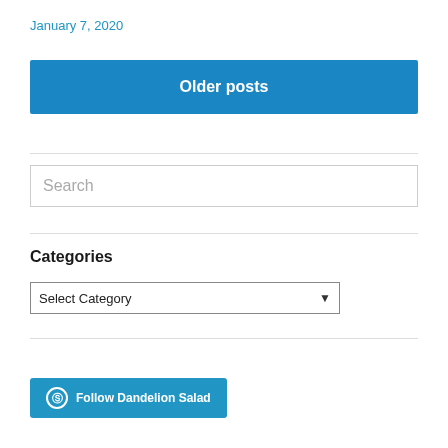January 7, 2020
Older posts
Search
Categories
Select Category
Follow Dandelion Salad